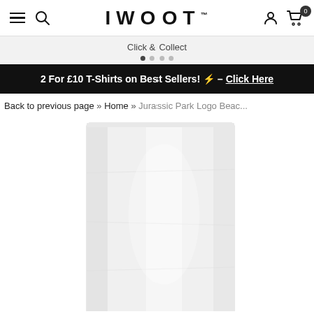IWOOT™ navigation bar with hamburger menu, search icon, logo, user icon, cart icon (0)
Click & Collect
2 For £10 T-Shirts on Best Sellers! ⚡ – Click Here
Back to previous page » Home » Jurassic Park Logo Beach...
[Figure (photo): A white beach towel photographed against a white background, showing fabric texture and folds.]